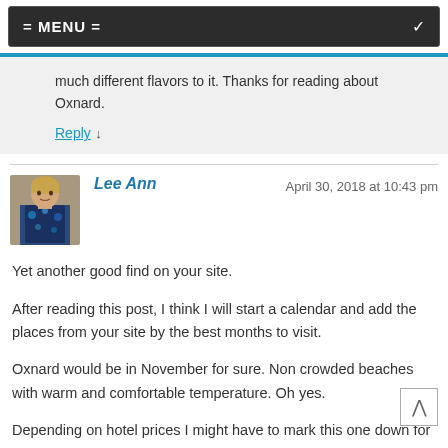= MENU =
much different flavors to it. Thanks for reading about Oxnard.
Reply ↓
Lee Ann — April 30, 2018 at 10:43 pm
Yet another good find on your site.
After reading this post, I think I will start a calendar and add the places from your site by the best months to visit.
Oxnard would be in November for sure. Non crowded beaches with warm and comfortable temperature. Oh yes.
Depending on hotel prices I might have to mark this one down for December.
You have given us hotels, sites to see and food that sounds amazingly YUMMY.
All I need now is for the husband to retire so we can start our bucket list.